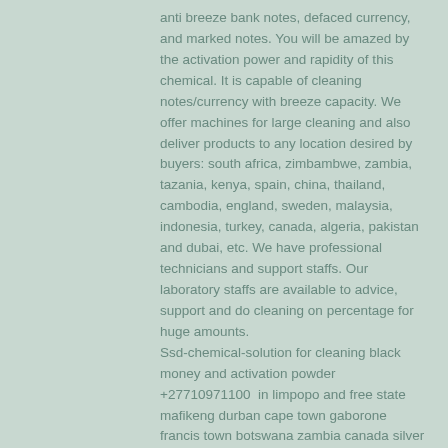anti breeze bank notes, defaced currency, and marked notes. You will be amazed by the activation power and rapidity of this chemical. It is capable of cleaning notes/currency with breeze capacity. We offer machines for large cleaning and also deliver products to any location desired by buyers: south africa, zimbambwe, zambia, tazania, kenya, spain, china, thailand, cambodia, england, sweden, malaysia, indonesia, turkey, canada, algeria, pakistan and dubai, etc. We have professional technicians and support staffs. Our laboratory staffs are available to advice, support and do cleaning on percentage for huge amounts.
Ssd-chemical-solution for cleaning black money and activation powder +27710971100  in limpopo and free state mafikeng durban cape town gaborone francis town botswana zambia canada silver red mercury s.s.d. Chemical solution ,